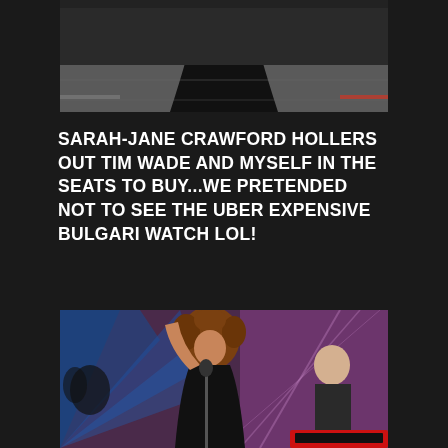[Figure (photo): Top portion of a photo showing a person in a black dress/outfit from behind, on what appears to be a stage or event floor]
SARAH-JANE CRAWFORD HOLLERS OUT TIM WADE AND MYSELF IN THE SEATS TO BUY...WE PRETENDED NOT TO SEE THE UBER EXPENSIVE BULGARI WATCH LOL!
[Figure (photo): A female performer with curly hair singing into a microphone on stage with one arm raised, wearing a black outfit with sequins; a male keyboard player in the background; blue and purple stage lighting]